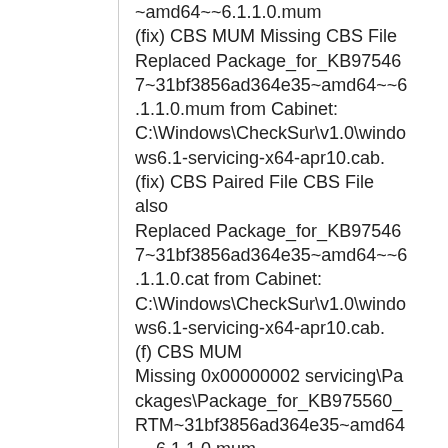…Package_for_KB97546731bf3856ad364e35~amd64~~6.1.1.0.mum (fix) CBS MUM Missing CBS File Replaced Package_for_KB975467~31bf3856ad364e35~amd64~~6.1.1.0.mum from Cabinet: C:\Windows\CheckSur\v1.0\windows6.1-servicing-x64-apr10.cab. (fix) CBS Paired File CBS File also Replaced Package_for_KB975467~31bf3856ad364e35~amd64~~6.1.1.0.cat from Cabinet: C:\Windows\CheckSur\v1.0\windows6.1-servicing-x64-apr10.cab. (f) CBS MUM Missing 0x00000002 servicing\Packages\Package_for_KB975560_RTM~31bf3856ad364e35~amd64~~6.1.1.0.mum (fix) CBS MUM Missing CBS File Replaced Package_for_KB97556